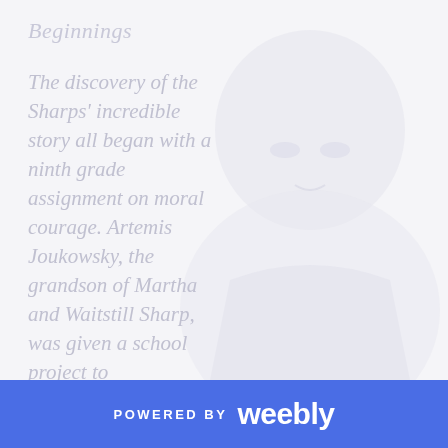[Figure (photo): Faded/washed-out portrait photograph of a person (appears to be an elderly individual), used as a background watermark image behind the text.]
Beginnings
The discovery of the Sharps' incredible story all began with a ninth grade assignment on moral courage. Artemis Joukowsky, the grandson of Martha and Waitstill Sharp, was given a school project to
POWERED BY weebly